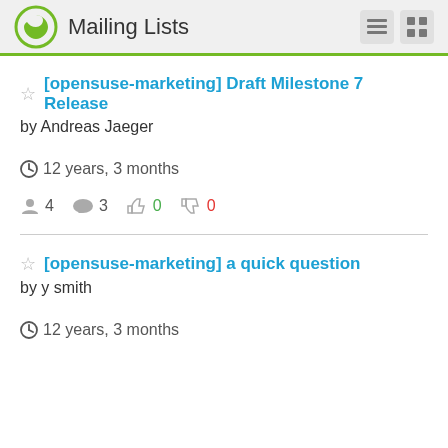Mailing Lists
[opensuse-marketing] Draft Milestone 7 Release
by Andreas Jaeger
12 years, 3 months
4 participants, 3 comments, 0 likes, 0 dislikes
[opensuse-marketing] a quick question
by y smith
12 years, 3 months